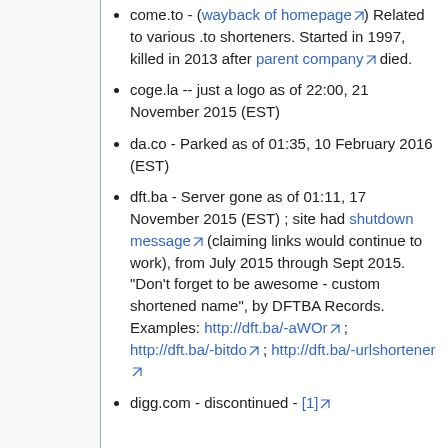come.to - (wayback of homepage) Related to various .to shorteners. Started in 1997, killed in 2013 after parent company died.
coge.la -- just a logo as of 22:00, 21 November 2015 (EST)
da.co - Parked as of 01:35, 10 February 2016 (EST)
dft.ba - Server gone as of 01:11, 17 November 2015 (EST) ; site had shutdown message (claiming links would continue to work), from July 2015 through Sept 2015. "Don't forget to be awesome - custom shortened name", by DFTBA Records. Examples: http://dft.ba/-aWOr ; http://dft.ba/-bitdo ; http://dft.ba/-urlshortener
digg.com - discontinued - [1]